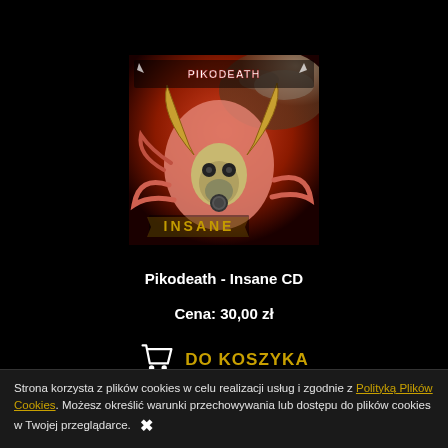[Figure (illustration): Album cover art for Pikodeath - Insane CD. Dark grotesque fantasy artwork with creature, gas mask, horns, on red/pink background with band name in white spiked lettering at top and 'INSANE' in yellow at bottom.]
Pikodeath - Insane CD
Cena: 30,00 zł
DO KOSZYKA
Strona korzysta z plików cookies w celu realizacji usług i zgodnie z Polityką Plików Cookies. Możesz określić warunki przechowywania lub dostępu do plików cookies w Twojej przeglądarce. ✖